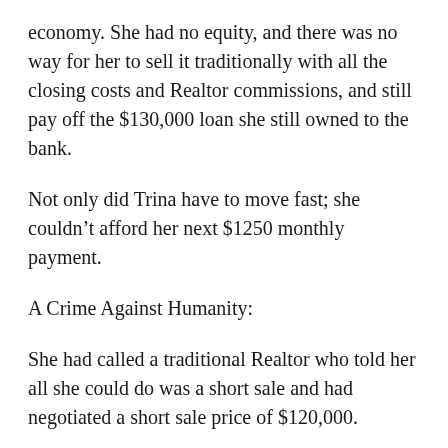economy. She had no equity, and there was no way for her to sell it traditionally with all the closing costs and Realtor commissions, and still pay off the $130,000 loan she still owned to the bank.
Not only did Trina have to move fast; she couldn’t afford her next $1250 monthly payment.
A Crime Against Humanity:
She had called a traditional Realtor who told her all she could do was a short sale and had negotiated a short sale price of $120,000.
The Realtor did this even though this short sale will DESTROY Trina’s credit and eliminate any chance she has